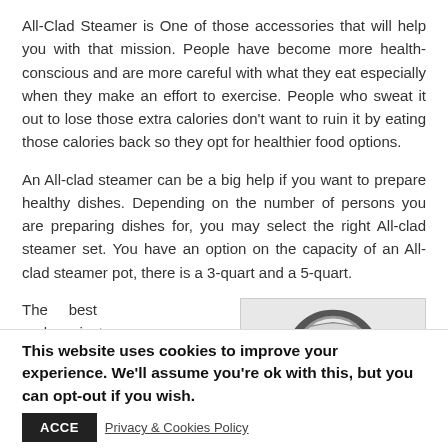All-Clad Steamer is One of those accessories that will help you with that mission. People have become more health-conscious and are more careful with what they eat especially when they make an effort to exercise. People who sweat it out to lose those extra calories don't want to ruin it by eating those calories back so they opt for healthier food options.
An All-clad steamer can be a big help if you want to prepare healthy dishes. Depending on the number of persons you are preparing dishes for, you may select the right All-clad steamer set. You have an option on the capacity of an All-clad steamer pot, there is a 3-quart and a 5-quart.
The best and easiest way to cook vegetables,
[Figure (photo): Photo of an All-Clad steamer pot lid with arched handle, shown from above, with steam holes visible along the rim]
This website uses cookies to improve your experience. We'll assume you're ok with this, but you can opt-out if you wish.